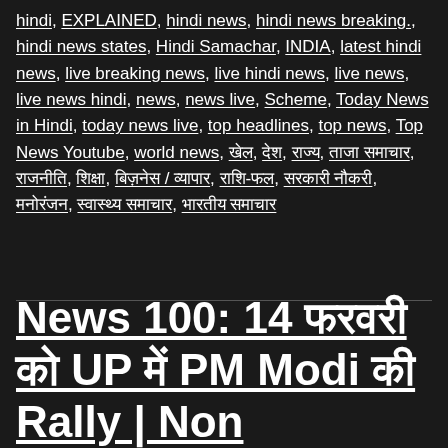hindi, EXPLAINED, hindi news, hindi news breaking., hindi news states, Hindi Samachar, INDIA, latest hindi news, live breaking news, live hindi news, live news, live news hindi, news, news live, Scheme, Today News in Hindi, today news live, top headlines, top news, Top News Youtube, world news, खेल, देश, राज्य, ताजा समाचार, राजनीति, शिक्षा, बिज़नेस / व्यापार, राशि-फल, सरकारी नौकरी, मनोरंजन, स्वास्थ्य समाचार, भारतीय समाचार
News 100: 14 फरवरी को UP में PM Modi की Rally | Non